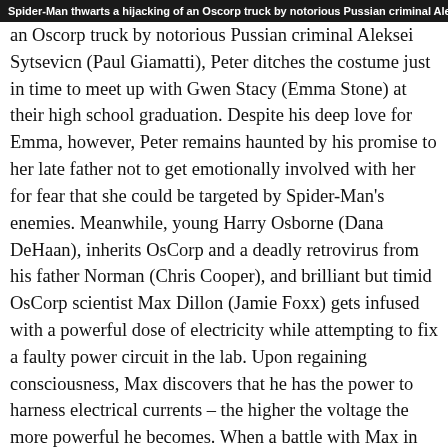Spider-Man thwarts a hijacking of an Oscorp truck by notorious Russian criminal Aleksei Sytsevicn (Paul Giamatti)...
an Oscorp truck by notorious Russian criminal Aleksei Sytsevicn (Paul Giamatti), Peter ditches the costume just in time to meet up with Gwen Stacy (Emma Stone) at their high school graduation. Despite his deep love for Emma, however, Peter remains haunted by his promise to her late father not to get emotionally involved with her for fear that she could be targeted by Spider-Man's enemies. Meanwhile, young Harry Osborne (Dana DeHaan), inherits OsCorp and a deadly retrovirus from his father Norman (Chris Cooper), and brilliant but timid OsCorp scientist Max Dillon (Jamie Foxx) gets infused with a powerful dose of electricity while attempting to fix a faulty power circuit in the lab. Upon regaining consciousness, Max discovers that he has the power to harness electrical currents – the higher the voltage the more powerful he becomes. When a battle with Max in Times Square shorts out Spidey's web-shooters, Peter goes to work on developing a more reliable model of